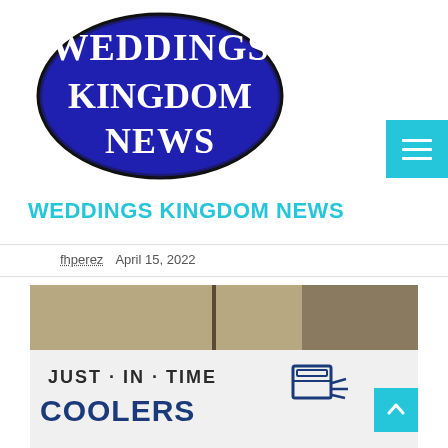[Figure (logo): Weddings Kingdom News logo: blue oval with white serif text reading WEDDINGS KINGDOM NEWS]
WEDDINGS KINGDOM NEWS
fhperez   April 15, 2022
[Figure (photo): Photo of a Just-In-Time Coolers truck in front of a corrugated metal warehouse building]